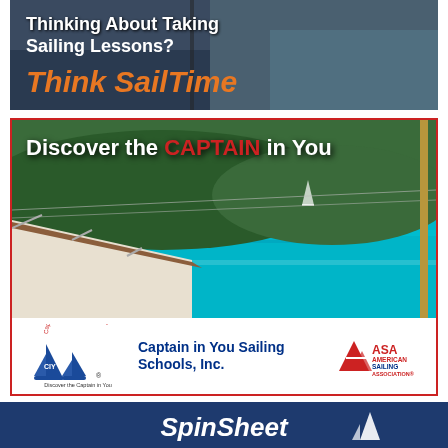[Figure (illustration): SailTime advertisement banner: dark background with sailing image, text 'Thinking About Taking Sailing Lessons? Think SailTime' with orange italic brand text]
[Figure (photo): Captain in You Sailing Schools ad: photo of sailboat deck with turquoise water and green hills, overlaid with headline 'Discover the CAPTAIN in You', logo of CIY sailing school with blue sailboats, company name 'Captain in You Sailing Schools, Inc.' and American Sailing Association logo]
[Figure (logo): SpinSheet logo on dark navy bar at bottom of page]